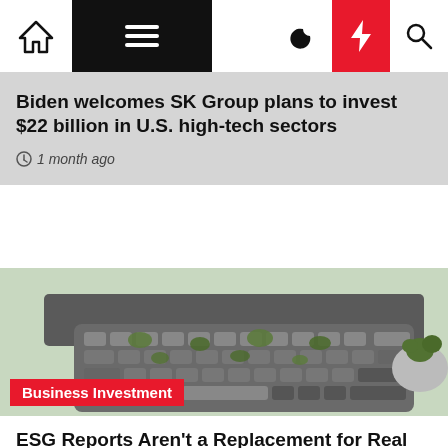Navigation bar with home, menu, moon, bolt, and search icons
Biden welcomes SK Group plans to invest $22 billion in U.S. high-tech sectors
1 month ago
[Figure (photo): Keyboard with green plants growing between the keys on a light green background, with a potted plant on the right. Badge overlay reads 'Business Investment'.]
Business Investment
ESG Reports Aren't a Replacement for Real Sustainability
1 month ago